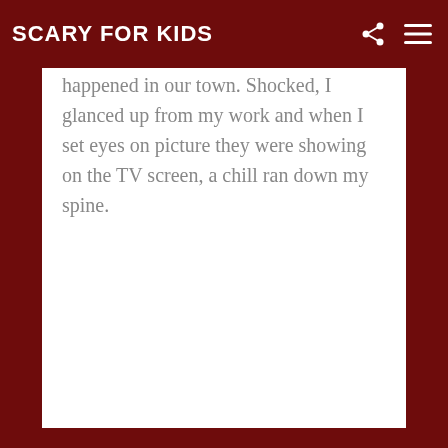SCARY FOR KIDS
happened in our town. Shocked, I glanced up from my work and when I set eyes on picture they were showing on the TV screen, a chill ran down my spine.